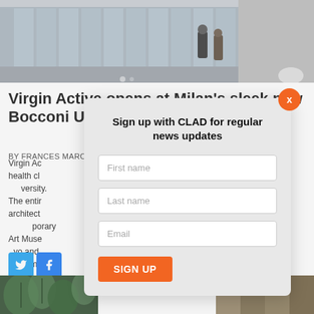[Figure (photo): Exterior of Bocconi University building by SANAA, with two people walking in front of glass facade, grey overcast day]
Virgin Active opens at Milan's sleek new Bocconi University by SANAA
BY FRANCES MARCELLIN | 06 JUL 2022
Virgin Active has opened a health club at Bocconi University. The entire campus is of architectural note, including contemporary Art Museum, designed in Tokyo and La Samaritaine, fitness and wellness at Bocconi.
[Figure (screenshot): Modal popup: Sign up with CLAD for regular news updates, with First name, Last name, Email fields and SIGN UP button]
[Figure (photo): Thumbnail of green tropical leaf pattern]
[Figure (photo): Thumbnail of warm-toned textured surface]